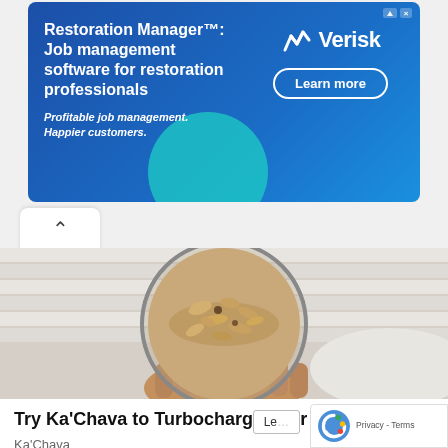[Figure (screenshot): Advertisement banner for Verisk Restoration Manager job management software. Blue gradient background with white text reading 'Restoration Manager: Job management software for restoration professionals. Profitable job management. Happier customers.' Verisk logo on right side with 'Learn more' button. Teal accent circle decoration.]
[Figure (photo): Photo of a hand holding a glass jar filled with a smoothie or oatmeal topped with granola and nuts, photographed from above. Background shows white siding/blinds and snow.]
Try Ka'Chava to Turbocharge Your Nutrition!
Ka'Chava
[Figure (screenshot): reCAPTCHA badge showing 'Privacy - Terms' text with reCAPTCHA logo icon]